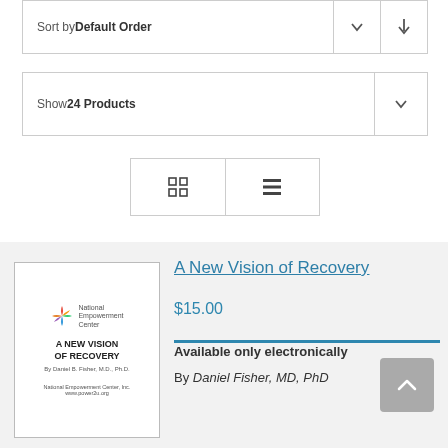Sort by Default Order
Show 24 Products
[Figure (screenshot): View toggle buttons: grid view and list view icons in a bordered container]
[Figure (photo): Book cover: A New Vision of Recovery, National Empowerment Center, by Daniel B. Fisher, MD, PhD]
A New Vision of Recovery
$15.00
Available only electronically
By Daniel Fisher, MD, PhD